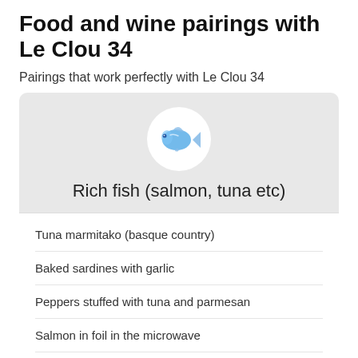Food and wine pairings with Le Clou 34
Pairings that work perfectly with Le Clou 34
[Figure (illustration): Blue watercolor fish illustration inside a white circle on a grey card background, above text reading 'Rich fish (salmon, tuna etc)']
Tuna marmitako (basque country)
Baked sardines with garlic
Peppers stuffed with tuna and parmesan
Salmon in foil in the microwave
Tuna and mayonnaise onigiri
Hard-boiled eggs and gourmet muffins